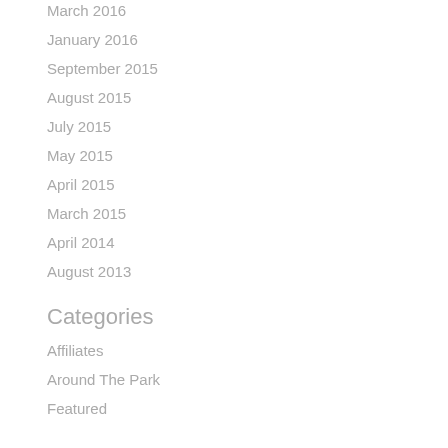March 2016
January 2016
September 2015
August 2015
July 2015
May 2015
April 2015
March 2015
April 2014
August 2013
Categories
Affiliates
Around The Park
Featured